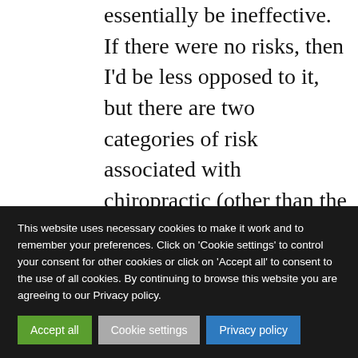essentially be ineffective. If there were no risks, then I'd be less opposed to it, but there are two categories of risk associated with chiropractic (other than the more common minor side effects) the risk of
This website uses necessary cookies to make it work and to remember your preferences. Click on 'Cookie settings' to control your consent for other cookies or click on 'Accept all' to consent to the use of all cookies. By continuing to browse this website you are agreeing to our Privacy policy.